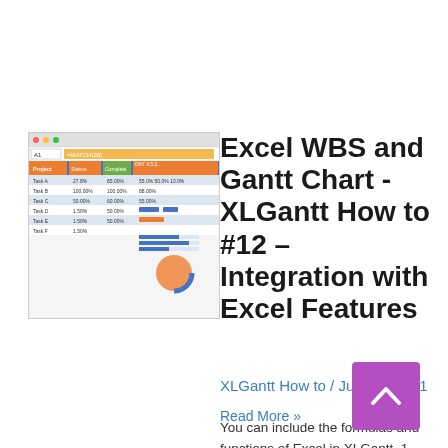[Figure (screenshot): Thumbnail screenshot of an Excel spreadsheet showing XLGantt with colorful cells, orange formula bar, blue/orange/green column headers, and data rows with percentages]
Excel WBS and Gantt Chart - XLGantt How to #12 – Integration with Excel Features
XLGantt How to / July 11, 2021
You can include the formulas and functions of Excel in XLGantt. 1. Display project information using functions provided by XLGantt You can add rows above the title and use the …
Read More »